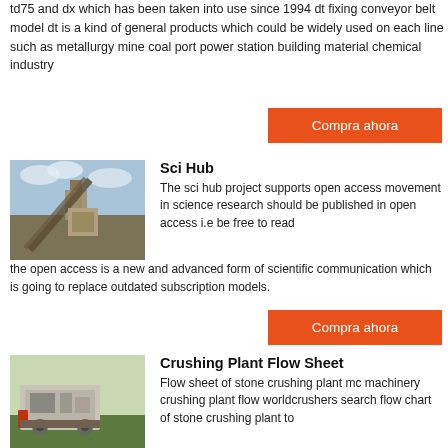td75 and dx which has been taken into use since 1994 dt fixing conveyor belt model dt is a kind of general products which could be widely used on each line such as metallurgy mine coal port power station building material chemical industry
Compra ahora
[Figure (photo): Industrial conveyor belt or crushing equipment outdoors with cloudy sky]
Sci Hub
The sci hub project supports open access movement in science research should be published in open access i.e be free to read the open access is a new and advanced form of scientific communication which is going to replace outdated subscription models.
Compra ahora
[Figure (photo): Crushing plant machinery or conveyor belt equipment close-up]
Crushing Plant Flow Sheet
Flow sheet of stone crushing plant mc machinery crushing plant flow worldcrushers search flow chart of stone crushing plant to find your need mining and construction machinery is a global manufacturer